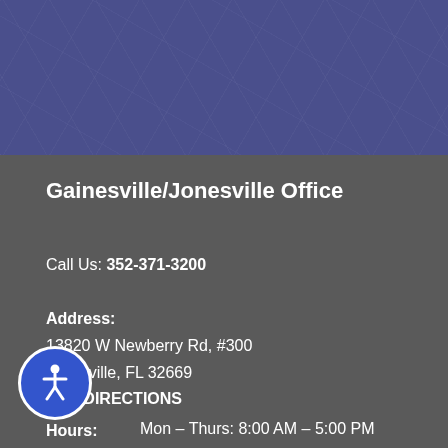[Figure (illustration): Blue/indigo textured banner header background]
Gainesville/Jonesville Office
Call Us: 352-371-3200
Address:
13820 W Newberry Rd, #300
Jonesville, FL 32669
GET DIRECTIONS
Hours:
Mon – Thurs: 8:00 AM – 5:00 PM